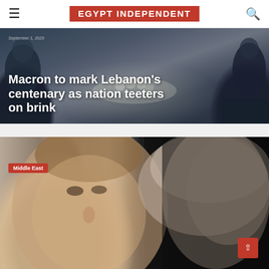EGYPT INDEPENDENT
[Figure (photo): Two people seated meeting, dark background. Headline overlay: 'Macron to mark Lebanon's centenary as nation teeters on brink'. Date label visible top left.]
Macron to mark Lebanon's centenary as nation teeters on brink
[Figure (photo): Close-up photo of two people side by side: left half shows a man (Macron) with short hair facing left, right half shows a woman with long grey/blonde hair. Category tag 'Middle East' overlaid on left side.]
Middle East